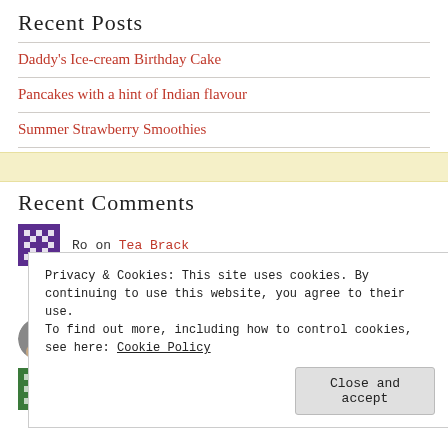Recent Posts
Daddy's Ice-cream Birthday Cake
Pancakes with a hint of Indian flavour
Summer Strawberry Smoothies
Recent Comments
Ro on Tea Brack
Easter White Chocola... on White Chocolate Ganache Cake
bakermam on Irish Brown Soda Bread
williem2012 on Irish Brown Soda Bread
Privacy & Cookies: This site uses cookies. By continuing to use this website, you agree to their use.
To find out more, including how to control cookies, see here: Cookie Policy
Close and accept